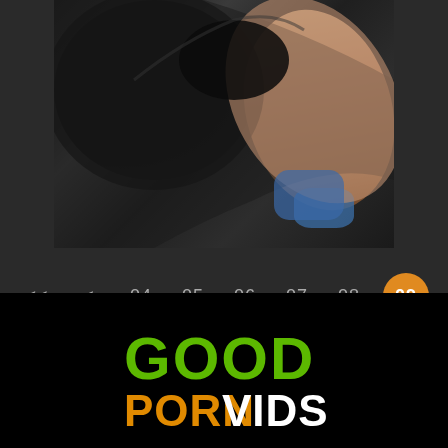[Figure (photo): A close-up photo showing dark object and skin tones with blue accent, dark background]
<< < 04 05 06 07 08 [09] 10 11 12 13 > >>
[Figure (logo): GoodPornVids logo with green GOOD text and orange PORN white VIDS text]